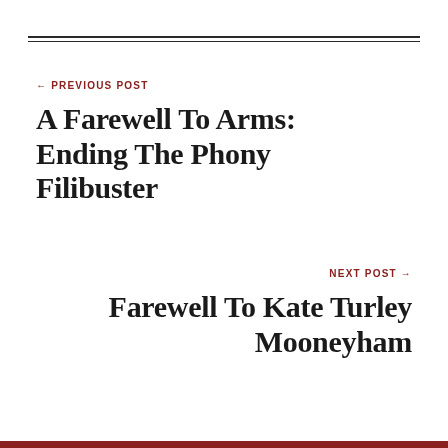← PREVIOUS POST
A Farewell To Arms: Ending The Phony Filibuster
NEXT POST →
Farewell To Kate Turley Mooneyham